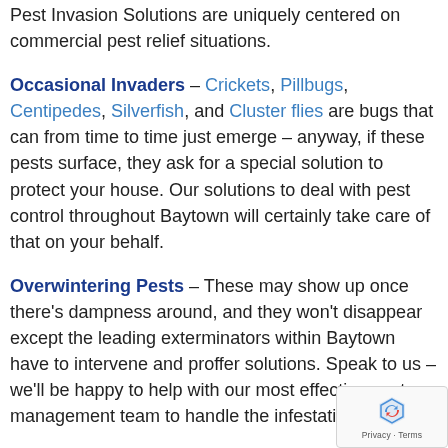Pest Invasion Solutions are uniquely centered on commercial pest relief situations.
Occasional Invaders – Crickets, Pillbugs, Centipedes, Silverfish, and Cluster flies are bugs that can from time to time just emerge – anyway, if these pests surface, they ask for a special solution to protect your house. Our solutions to deal with pest control throughout Baytown will certainly take care of that on your behalf.
Overwintering Pests – These may show up once there's dampness around, and they won't disappear except the leading exterminators within Baytown have to intervene and proffer solutions. Speak to us – we'll be happy to help with our most effective pest management team to handle the infestation.
Bed Bugs, Saw Toothed Grain Beetles...